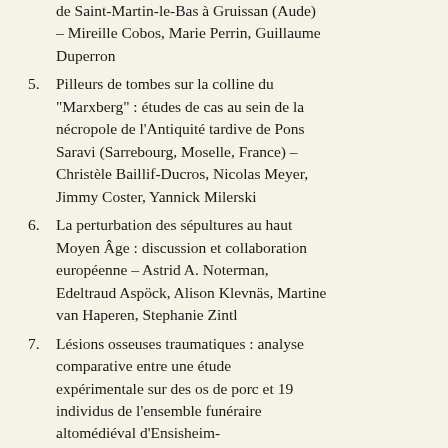de Saint-Martin-le-Bas à Gruissan (Aude) – Mireille Cobos, Marie Perrin, Guillaume Duperron
5. Pilleurs de tombes sur la colline du "Marxberg" : études de cas au sein de la nécropole de l'Antiquité tardive de Pons Saravi (Sarrebourg, Moselle, France) – Christèle Baillif-Ducros, Nicolas Meyer, Jimmy Coster, Yannick Milerski
6. La perturbation des sépultures au haut Moyen Âge : discussion et collaboration européenne – Astrid A. Noterman, Edeltraud Aspöck, Alison Klevnäs, Martine van Haperen, Stephanie Zintl
7. Lésions osseuses traumatiques : analyse comparative entre une étude expérimentale sur des os de porc et 19 individus de l'ensemble funéraire altomédiéval d'Ensisheim-